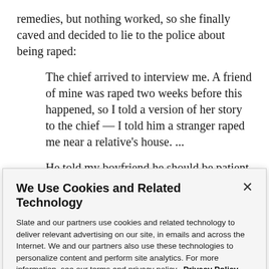remedies, but nothing worked, so she finally caved and decided to lie to the police about being raped:
The chief arrived to interview me. A friend of mine was raped two weeks before this happened, so I told a version of her story to the chief — I told him a stranger raped me near a relative's house. ...
He told my boyfriend he should be patient
We Use Cookies and Related Technology
Slate and our partners use cookies and related technology to deliver relevant advertising on our site, in emails and across the Internet. We and our partners also use these technologies to personalize content and perform site analytics. For more information, see our terms and privacy policy.  Privacy Policy
OK